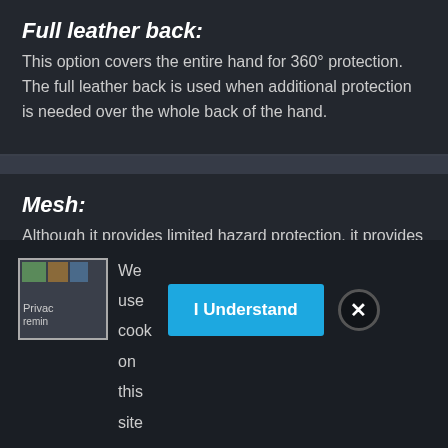Full leather back:
This option covers the entire hand for 360° protection. The full leather back is used when additional protection is needed over the whole back of the hand.
Mesh:
Although it provides limited hazard protection, it provides the greatest level of breathability due to openings in the
We use cook on this site
[Figure (other): Privacy reminder logo/image placeholder in cookie consent banner]
I Understand
✕